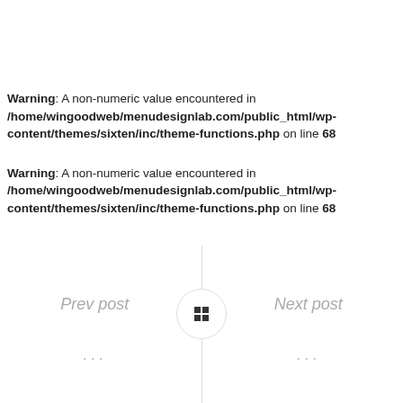Warning: A non-numeric value encountered in /home/wingoodweb/menudesignlab.com/public_html/wp-content/themes/sixten/inc/theme-functions.php on line 68
Warning: A non-numeric value encountered in /home/wingoodweb/menudesignlab.com/public_html/wp-content/themes/sixten/inc/theme-functions.php on line 68
Prev post
Next post
...
...